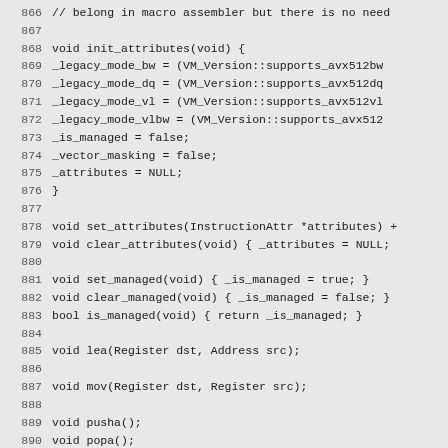Source code listing, lines 866–895, showing C++ assembler class methods: init_attributes, set_attributes, clear_attributes, set_managed, clear_managed, is_managed, lea, mov, pusha, popa, pushf, popf, push